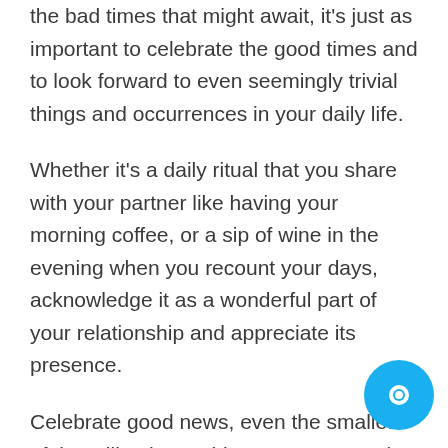the bad times that might await, it's just as important to celebrate the good times and to look forward to even seemingly trivial things and occurrences in your daily life.
Whether it's a daily ritual that you share with your partner like having your morning coffee, or a sip of wine in the evening when you recount your days, acknowledge it as a wonderful part of your relationship and appreciate its presence.
Celebrate good news, even the smallest of them like they're big events. Count the compliments their boss like a promotion. You'll find that these